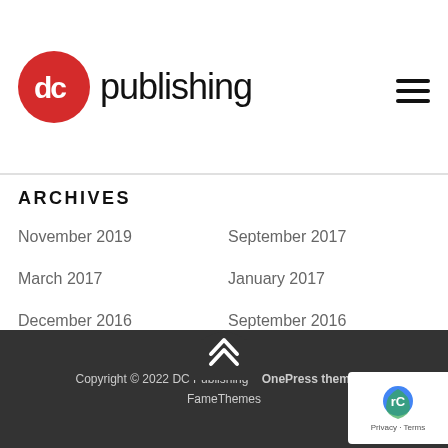[Figure (logo): DC Publishing logo: red circle with 'dc' in white letters, followed by 'publishing' in black sans-serif text]
ARCHIVES
November 2019
September 2017
March 2017
January 2017
December 2016
September 2016
May 2016
March 2016
Copyright © 2022 DC Publishing – OnePress theme by FameThemes